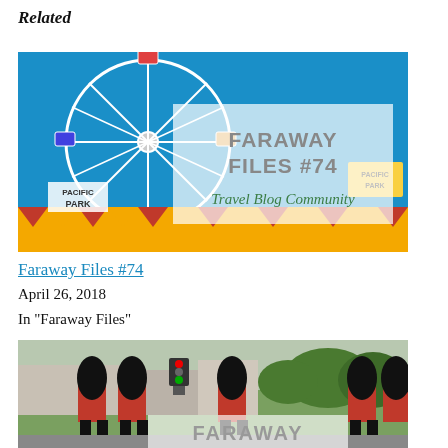Related
[Figure (photo): Photo of a Ferris wheel at Pacific Park with a semi-transparent overlay reading 'FARAWAY FILES #74 Travel Blog Community']
Faraway Files #74
April 26, 2018
In "Faraway Files"
[Figure (photo): Photo of royal guards in tall bearskin hats marching in a street, partially showing text 'FARAWAY' at bottom]